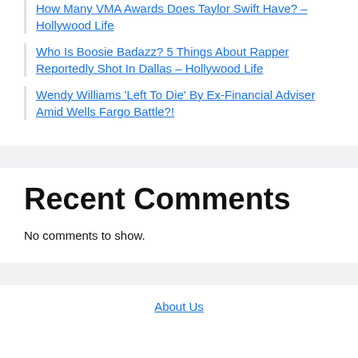How Many VMA Awards Does Taylor Swift Have? – Hollywood Life
Who Is Boosie Badazz? 5 Things About Rapper Reportedly Shot In Dallas – Hollywood Life
Wendy Williams 'Left To Die' By Ex-Financial Adviser Amid Wells Fargo Battle?!
Recent Comments
No comments to show.
About Us